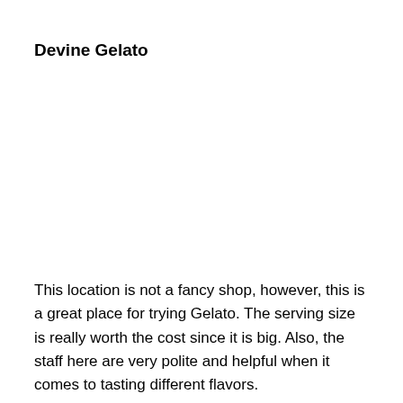Devine Gelato
This location is not a fancy shop, however, this is a great place for trying Gelato. The serving size is really worth the cost since it is big. Also, the staff here are very polite and helpful when it comes to tasting different flavors.